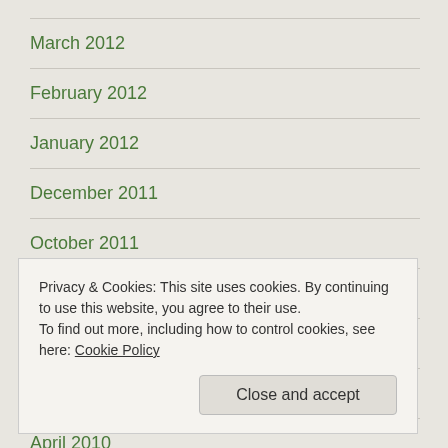March 2012
February 2012
January 2012
December 2011
October 2011
September 2011
July 2011
December 2010
April 2010
Privacy & Cookies: This site uses cookies. By continuing to use this website, you agree to their use.
To find out more, including how to control cookies, see here: Cookie Policy